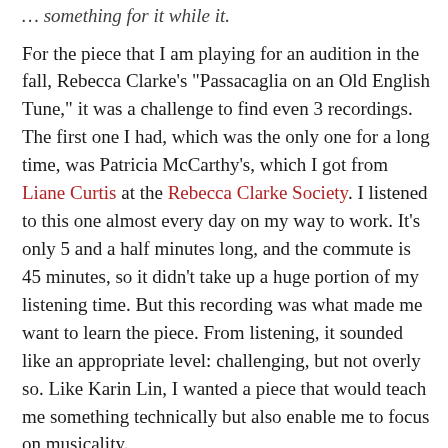… something [or a similar title]
For the piece that I am playing for an audition in the fall, Rebecca Clarke's "Passacaglia on an Old English Tune," it was a challenge to find even 3 recordings. The first one I had, which was the only one for a long time, was Patricia McCarthy's, which I got from Liane Curtis at the Rebecca Clarke Society. I listened to this one almost every day on my way to work. It's only 5 and a half minutes long, and the commute is 45 minutes, so it didn't take up a huge portion of my listening time. But this recording was what made me want to learn the piece. From listening, it sounded like an appropriate level: challenging, but not overly so. Like Karin Lin, I wanted a piece that would teach me something technically but also enable me to focus on musicality.
As a fan of Barbara Barber's "Solos for Young Violists" series Book 1, I saw that the music for this piece was available in Book 5. Ignoring any sense of sequence or orderly progression, I bought Book 5 and brought it to my early lessons with my viola teacher. After hearing me play a few times, she agreed that this would be a